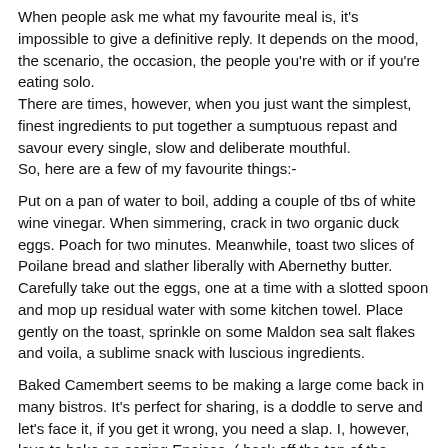When people ask me what my favourite meal is, it's impossible to give a definitive reply. It depends on the mood, the scenario, the occasion, the people you're with or if you're eating solo. There are times, however, when you just want the simplest, finest ingredients to put together a sumptuous repast and savour every single, slow and deliberate mouthful. So, here are a few of my favourite things:-
Put on a pan of water to boil, adding a couple of tbs of white wine vinegar. When simmering, crack in two organic duck eggs. Poach for two minutes. Meanwhile, toast two slices of Poilane bread and slather liberally with Abernethy butter. Carefully take out the eggs, one at a time with a slotted spoon and mop up residual water with some kitchen towel. Place gently on the toast, sprinkle on some Maldon sea salt flakes and voila, a sublime snack with luscious ingredients.
Baked Camembert seems to be making a large come back in many bistros. It's perfect for sharing, is a doddle to serve and let's face it, if you get it wrong, you need a slap. I, however, love to bake an oozing Epoisse, ( hack off the top of the cheese, bake in the box at 180oC for 15 minutes) serve it with home made tomato and chili chutney (see recipe) and scoop out the cheese with some toasted Poilane. Serve with a meaty Primitive. Sublime.